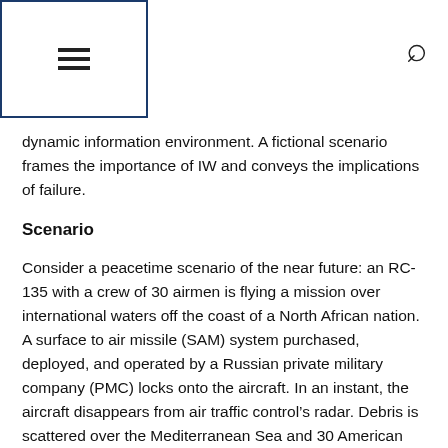☰  🔍
dynamic information environment. A fictional scenario frames the importance of IW and conveys the implications of failure.
Scenario
Consider a peacetime scenario of the near future: an RC-135 with a crew of 30 airmen is flying a mission over international waters off the coast of a North African nation. A surface to air missile (SAM) system purchased, deployed, and operated by a Russian private military company (PMC) locks onto the aircraft. In an instant, the aircraft disappears from air traffic control's radar. Debris is scattered over the Mediterranean Sea and 30 American lives are lost, brought down by a SAM fired from within the African state's borders. In the aftermath, the Russian president promises to investigate the